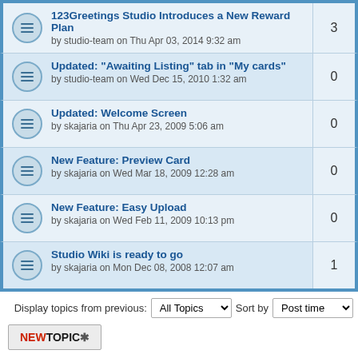123Greetings Studio Introduces a New Reward Plan — by studio-team on Thu Apr 03, 2014 9:32 am — replies: 3
Updated: "Awaiting Listing" tab in "My cards" — by studio-team on Wed Dec 15, 2010 1:32 am — replies: 0
Updated: Welcome Screen — by skajaria on Thu Apr 23, 2009 5:06 am — replies: 0
New Feature: Preview Card — by skajaria on Wed Mar 18, 2009 12:28 am — replies: 0
New Feature: Easy Upload — by skajaria on Wed Feb 11, 2009 10:13 pm — replies: 0
Studio Wiki is ready to go — by skajaria on Mon Dec 08, 2008 12:07 am — replies: 1
Display topics from previous: All Topics  Sort by  Post time
NEWTOPIC *
Return to Board index   Jump to: Updates & A
WHO IS ONLINE
Users browsing this forum: No registered users and 2 guests
FORUM PERMISSIONS